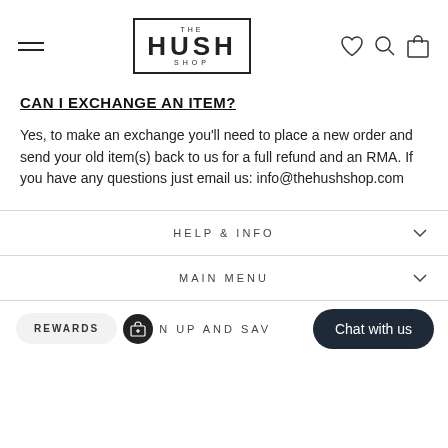[Figure (logo): The Hush Shop logo — bold HUSH text inside a square border, with THE above and SHOP below]
CAN I EXCHANGE AN ITEM?
Yes, to make an exchange you'll need to place a new order and send your old item(s) back to us for a full refund and an RMA. If you have any questions just email us: info@thehushshop.com
HELP & INFO
MAIN MENU
N UP AND SAV